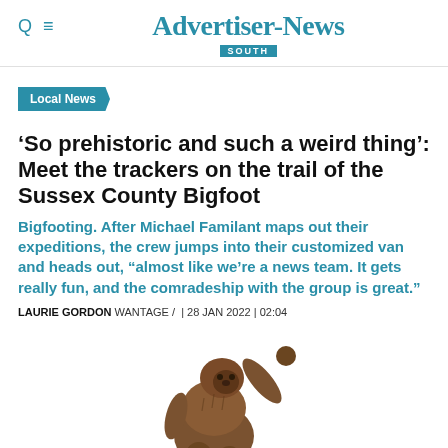Advertiser-News SOUTH
Local News
'So prehistoric and such a weird thing': Meet the trackers on the trail of the Sussex County Bigfoot
Bigfooting. After Michael Familant maps out their expeditions, the crew jumps into their customized van and heads out, "almost like we're a news team. It gets really fun, and the comradeship with the group is great."
LAURIE GORDON WANTAGE / | 28 JAN 2022 | 02:04
[Figure (illustration): Illustration of a Bigfoot / Sasquatch creature, a large ape-like figure with raised arm, viewed from the side, rendered in brown tones against a white background.]